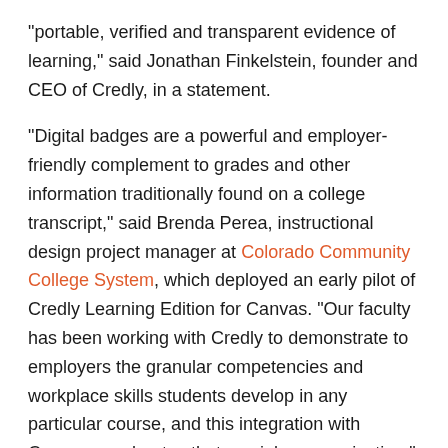"portable, verified and transparent evidence of learning," said Jonathan Finkelstein, founder and CEO of Credly, in a statement.
"Digital badges are a powerful and employer-friendly complement to grades and other information traditionally found on a college transcript," said Brenda Perea, instructional design project manager at Colorado Community College System, which deployed an early pilot of Credly Learning Edition for Canvas. "Our faculty has been working with Credly to demonstrate to employers the granular competencies and workplace skills students develop in any particular course, and this integration with Canvas accelerates that crucial communication."
For more information, visit the Canvas site.